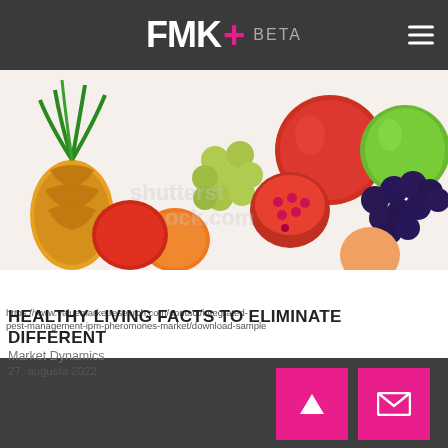FMK+ BETA
[Figure (photo): A colorful arrangement of various fruits including pineapple, grapes, apples, pomegranate, and other fruits on a white background.]
https://www.valuemarketresearch.com/contact/integrated-pest-management-ipm-pheromones-market/download-sample
HEALTHY LIVING FACTS TO ELIMINATE DIFFERENT
27. augusta 2022
A Healthy Living To Eliminate Various Warning Signs The desire...
Market Dynamics
During the projected period, the worldwide IPM pheromone market is